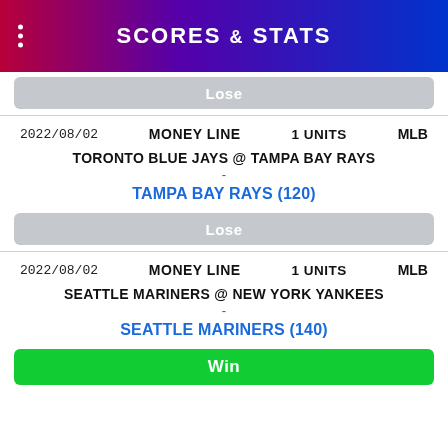SCORES & STATS
Lose
2022/08/02  MONEY LINE  1 UNITS  MLB
TORONTO BLUE JAYS @ TAMPA BAY RAYS
-
TAMPA BAY RAYS (120)
Lose
2022/08/02  MONEY LINE  1 UNITS  MLB
SEATTLE MARINERS @ NEW YORK YANKEES
-
SEATTLE MARINERS (140)
Win